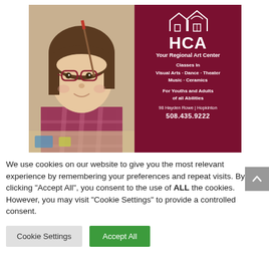[Figure (illustration): Advertisement for HCA - Your Regional Art Center. Left half shows a photo of a young girl with glasses holding a paintbrush. Right half is dark red/maroon with HCA logo (house outline), text: Your Regional Art Center, Classes In Visual Arts · Dance · Theater Music · Ceramics, For Youths and Adults of all Abilities, 98 Hayden Rowe | Hopkinton, 508.435.9222]
We use cookies on our website to give you the most relevant experience by remembering your preferences and repeat visits. By clicking "Accept All", you consent to the use of ALL the cookies. However, you may visit "Cookie Settings" to provide a controlled consent.